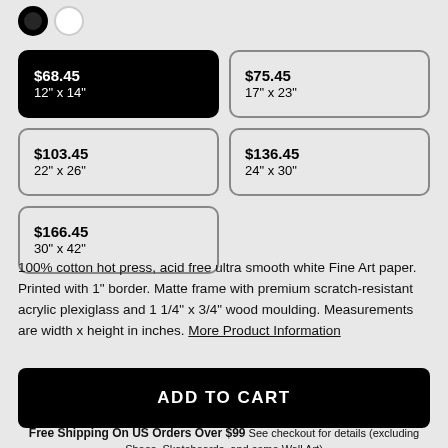[Figure (other): Color swatches: black (selected) and white circles]
$68.45 / 12" x 14" (selected)
$75.45 / 17" x 23"
$103.45 / 22" x 26"
$136.45 / 24" x 30"
$166.45 / 30" x 42"
100% cotton hot press, acid free ultra smooth white Fine Art paper. Printed with 1" border. Matte frame with premium scratch-resistant acrylic plexiglass and 1 1/4" x 3/4" wood moulding. Measurements are width x height in inches. More Product Information
ADD TO CART
Free Shipping On US Orders Over $99 See checkout for details (excluding Shoes, Skateboards, and some Wall Art)